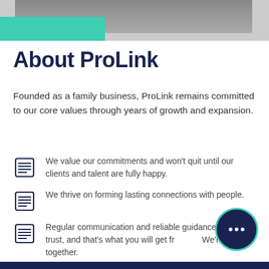[Figure (photo): Photo strip at top showing people, with a teal/mint colored block overlay on the left side]
About ProLink
Founded as a family business, ProLink remains committed to our core values through years of growth and expansion.
We value our commitments and won't quit until our clients and talent are fully happy.
We thrive on forming lasting connections with people.
Regular communication and reliable guidance build trust, and that's what you will get from us. We're in this together.
[Figure (illustration): Dark navy chat bubble icon with three dots, teal border, positioned bottom right]